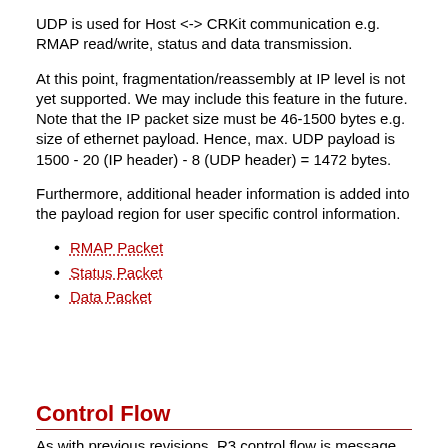UDP is used for Host <-> CRKit communication e.g. RMAP read/write, status and data transmission.
At this point, fragmentation/reassembly at IP level is not yet supported. We may include this feature in the future. Note that the IP packet size must be 46-1500 bytes e.g. size of ethernet payload. Hence, max. UDP payload is 1500 - 20 (IP header) - 8 (UDP header) = 1472 bytes.
Furthermore, additional header information is added into the payload region for user specific control information.
RMAP Packet
Status Packet
Data Packet
Control Flow
As with previous revisions, R3 control flow is message